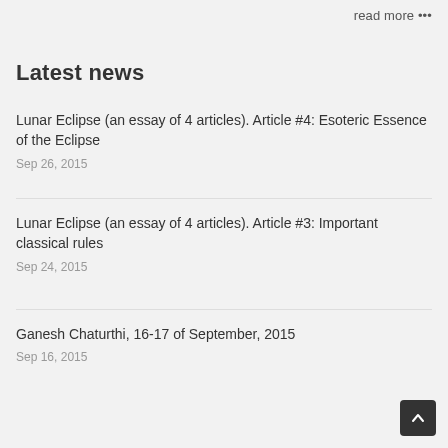read more •••
Latest news
Lunar Eclipse (an essay of 4 articles). Article #4: Esoteric Essence of the Eclipse
Sep 26, 2015
Lunar Eclipse (an essay of 4 articles). Article #3: Important classical rules
Sep 24, 2015
Ganesh Chaturthi, 16-17 of September, 2015
Sep 16, 2015